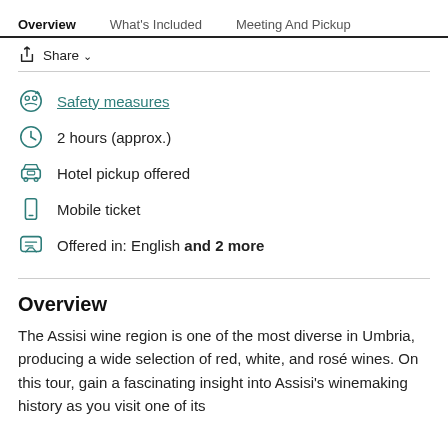Overview   What's Included   Meeting And Pickup
↑ Share ∨
Safety measures
2 hours (approx.)
Hotel pickup offered
Mobile ticket
Offered in: English and 2 more
Overview
The Assisi wine region is one of the most diverse in Umbria, producing a wide selection of red, white, and rosé wines. On this tour, gain a fascinating insight into Assisi's winemaking history as you visit one of its